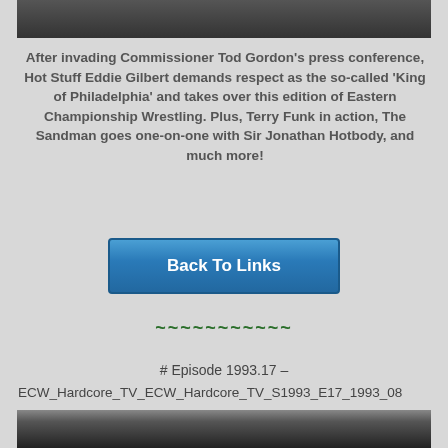[Figure (photo): Screenshot from a video showing people at a table, dark/dim setting]
After invading Commissioner Tod Gordon's press conference, Hot Stuff Eddie Gilbert demands respect as the so-called ‘King of Philadelphia’ and takes over this edition of Eastern Championship Wrestling. Plus, Terry Funk in action, The Sandman goes one-on-one with Sir Jonathan Hotbody, and much more!
[Figure (other): Blue button labeled 'Back To Links']
~~~~~~~~~~~
# Episode 1993.17 –
ECW_Hardcore_TV_ECW_Hardcore_TV_S1993_E17_1993_08
[Figure (photo): Screenshot from a video showing people in a wrestling event setting]